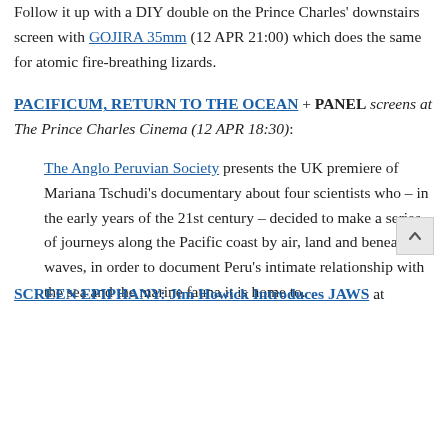Follow it up with a DIY double on the Prince Charles' downstairs screen with GOJIRA 35mm (12 APR 21:00) which does the same for atomic fire-breathing lizards.
PACIFICUM, RETURN TO THE OCEAN + PANEL screens at The Prince Charles Cinema (12 APR 18:30):
The Anglo Peruvian Society presents the UK premiere of Mariana Tschudi's documentary about four scientists who – in the early years of the 21st century – decided to make a series of journeys along the Pacific coast by air, land and beneath the waves, in order to document Peru's intimate relationship with the sea and the marine fauna it is home to.
SCREEN EPIPHANY: Jim Howick Introduces JAWS at